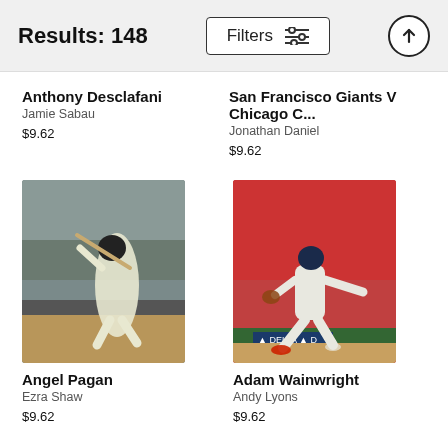Results: 148
Anthony Desclafani
Jamie Sabau
$9.62
San Francisco Giants V Chicago C...
Jonathan Daniel
$9.62
[Figure (photo): Baseball player Angel Pagan at bat in a Giants uniform]
Angel Pagan
Ezra Shaw
$9.62
[Figure (photo): Baseball pitcher Adam Wainwright in Cardinals uniform #50 pitching on mound]
Adam Wainwright
Andy Lyons
$9.62